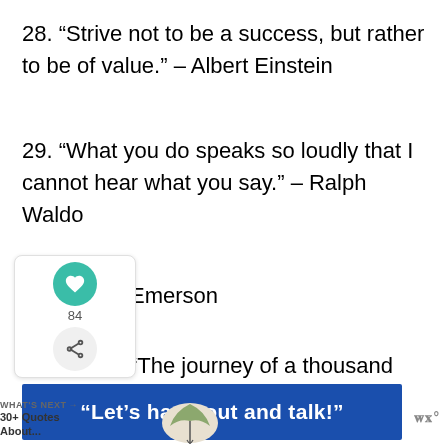28. “Strive not to be a success, but rather to be of value.” – Albert Einstein
29. “What you do speaks so loudly that I cannot hear what you say.” – Ralph Waldo Emerson
30. “The journey of a thousand miles begins with a single step.” – Lao Tzu
[Figure (infographic): Social sharing widget showing a teal heart icon with count 84 and a share icon, overlaid on the text]
[Figure (infographic): WHAT'S NEXT promo box showing '30+ Quotes About...' with a decorative image]
[Figure (infographic): Advertisement banner with dark blue background and white bold text: “Let’s hang out and talk!” with a logo to the right]